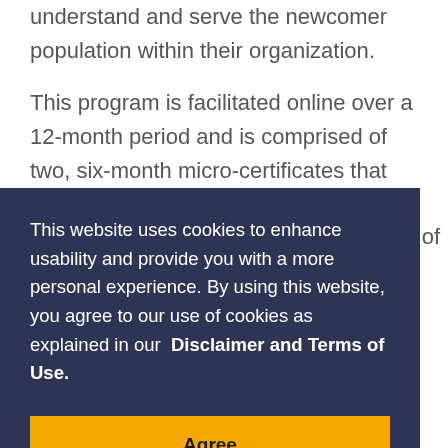newcomer navigation skills to better understand and serve the newcomer population within their organization.
This program is facilitated online over a 12-month period and is comprised of two, six-month micro-certificates that both consist of
This website uses cookies to enhance usability and provide you with a more personal experience. By using this website, you agree to our use of cookies as explained in our Disclaimer and Terms of Use.
Agree